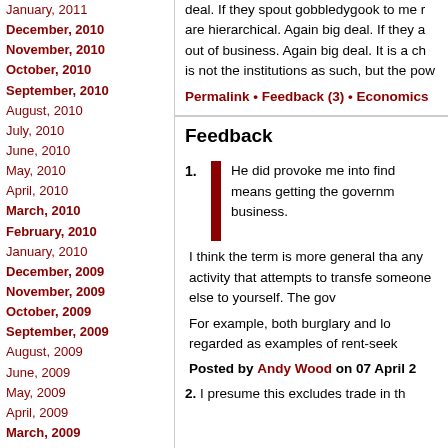January, 2011
December, 2010
November, 2010
October, 2010
September, 2010
August, 2010
July, 2010
June, 2010
May, 2010
April, 2010
March, 2010
February, 2010
January, 2010
December, 2009
November, 2009
October, 2009
September, 2009
August, 2009
June, 2009
May, 2009
April, 2009
March, 2009
February, 2009
January, 2009
November, 2008
October, 2008
September, 2008
August, 2008
July, 2008
May, 2008
April, 2008
March, 2008
deal. If they spout gobbledygook to me r... are hierarchical. Again big deal. If they a... out of business. Again big deal. It is a ch... is not the institutions as such, but the pow...
Permalink • Feedback (3) • Economics
Feedback
He did provoke me into find... means getting the governm... business.
I think the term is more general tha... any activity that attempts to transfe... someone else to yourself. The gov...
For example, both burglary and lo... regarded as examples of rent-seek...
Posted by Andy Wood on 07 April 2...
2. I presume this excludes trade in th...